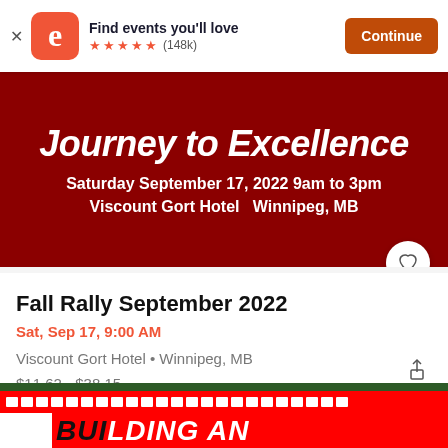[Figure (screenshot): Eventbrite app banner with logo, 'Find events you'll love', 5 stars, (148k) reviews, and Continue button]
[Figure (screenshot): Dark red event banner showing 'Journey to Excellence', Saturday September 17, 2022 9am to 3pm, Viscount Gort Hotel Winnipeg, MB]
Fall Rally September 2022
Sat, Sep 17, 9:00 AM
Viscount Gort Hotel • Winnipeg, MB
$11.62 - $38.15
[Figure (screenshot): Bottom partially visible event banner with film strip red border, dark green background, and 'BUILDING AN' text in bold white/black italic font]